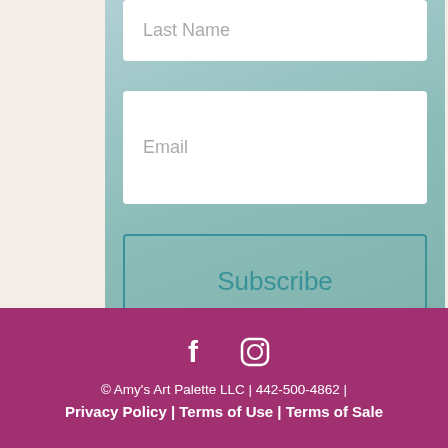[Figure (screenshot): Web form section showing Last Name and Email input fields with a Subscribe button, on a teal gradient background]
[Figure (infographic): Circular blue accessibility icon with person figure]
© Amy's Art Palette LLC | 442-500-4862 | Privacy Policy | Terms of Use | Terms of Sale